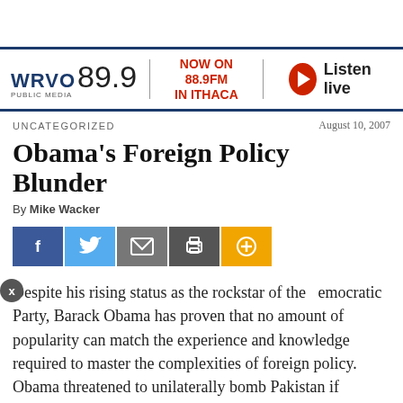[Figure (logo): WRVO Public Media 89.9 radio station banner with NOW ON 88.9FM IN ITHACA and Listen live button]
UNCATEGORIZED | August 10, 2007
Obama's Foreign Policy Blunder
By Mike Wacker
[Figure (infographic): Social media share buttons: Facebook, Twitter, Email, Print, Plus]
Despite his rising status as the rockstar of the Democratic Party, Barack Obama has proven that no amount of popularity can match the experience and knowledge required to master the complexities of foreign policy. Obama threatened to unilaterally bomb Pakistan if actionable intelligence placed high-level al-